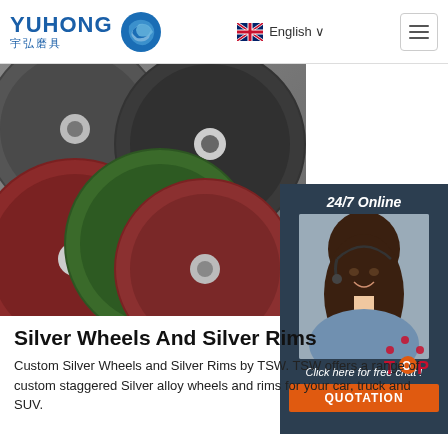YUHONG 宇弘磨具 | English | Menu
[Figure (photo): Multiple abrasive grinding discs (cutting wheels) in red, dark grey, and green colors arranged overlapping each other, photographed from above. A sidebar showing a customer service representative wearing a headset with text '24/7 Online', 'Click here for free chat!', and a QUOTATION button.]
Silver Wheels And Silver Rims
Custom Silver Wheels and Silver Rims by TSW. TSW offers a range of custom staggered Silver alloy wheels and rims for your car, truck and SUV.